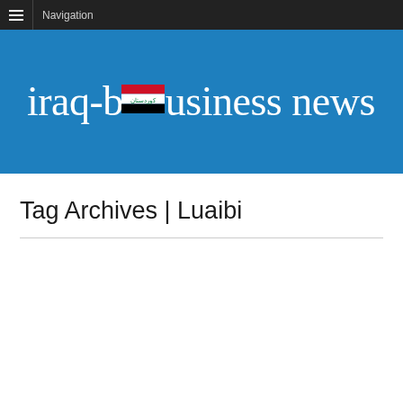Navigation
[Figure (logo): Iraq Business News logo with Iraqi flag on blue background]
Tag Archives | Luaibi